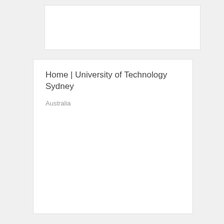[Figure (other): White card/panel at top, partially visible, no text content]
Home | University of Technology Sydney
Australia